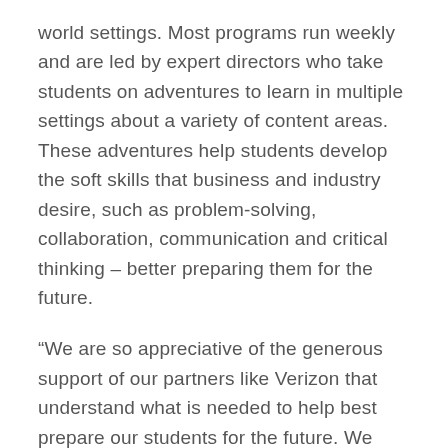world settings. Most programs run weekly and are led by expert directors who take students on adventures to learn in multiple settings about a variety of content areas. These adventures help students develop the soft skills that business and industry desire, such as problem-solving, collaboration, communication and critical thinking – better preparing them for the future.
“We are so appreciative of the generous support of our partners like Verizon that understand what is needed to help best prepare our students for the future. We have been laser-focused on uniting communities across the nation by connecting students, schools and teachers with businesses and industry,” said Annalies Corbin, Chief Goddess, President & CEO, PAST Foundation.